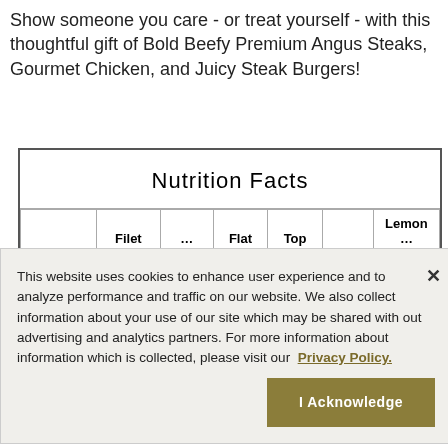Show someone you care - or treat yourself - with this thoughtful gift of Bold Beefy Premium Angus Steaks, Gourmet Chicken, and Juicy Steak Burgers!
|  | Filet | ... | Flat | Top |  | Lemon ... |
| --- | --- | --- | --- | --- | --- | --- |
This website uses cookies to enhance user experience and to analyze performance and traffic on our website. We also collect information about your use of our site which may be shared with out advertising and analytics partners. For more information about information which is collected, please visit our Privacy Policy.
I Acknowledge
CERTIFIED SECURE